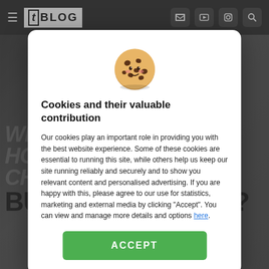[t] BLOG
[Figure (screenshot): Background showing horror film imagery with large bold text: 'WHAT WOULD THESE HORROR FILM CHARACTERS BUY AT THOMANN?']
[Figure (illustration): Cartoon chocolate chip cookie with kawaii face (eyes and rosy cheeks)]
Cookies and their valuable contribution
Our cookies play an important role in providing you with the best website experience. Some of these cookies are essential to running this site, while others help us keep our site running reliably and securely and to show you relevant content and personalised advertising. If you are happy with this, please agree to our use for statistics, marketing and external media by clicking "Accept". You can view and manage more details and options here.